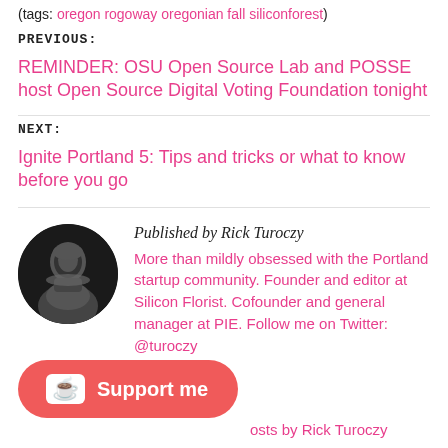(tags: oregon rogoway oregonian fall siliconforest)
PREVIOUS:
REMINDER: OSU Open Source Lab and POSSE host Open Source Digital Voting Foundation tonight
NEXT:
Ignite Portland 5: Tips and tricks or what to know before you go
Published by Rick Turoczy
More than mildly obsessed with the Portland startup community. Founder and editor at Silicon Florist. Cofounder and general manager at PIE. Follow me on Twitter: @turoczy
Support me
osts by Rick Turoczy